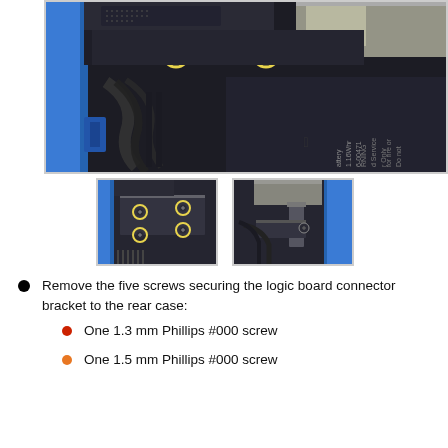[Figure (photo): Large close-up photo of an iPhone interior showing the logic board area with two yellow highlighted screws visible at the top, blue chassis edge on the left, black ribbon cables, and battery with Apple logo and warning text visible in lower right]
[Figure (photo): Small close-up photo showing four screws (highlighted in yellow/gold) securing a metal bracket on the logic board connector area]
[Figure (photo): Small close-up photo showing the corner of the iPhone interior with a metal bracket and connectors near the blue chassis edge]
Remove the five screws securing the logic board connector bracket to the rear case:
One 1.3 mm Phillips #000 screw
One 1.5 mm Phillips #000 screw